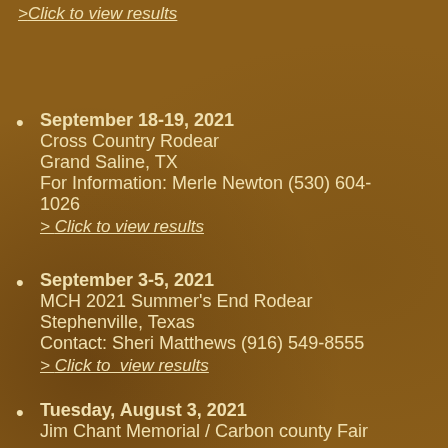>Click to view results
September 18-19, 2021
Cross Country Rodear
Grand Saline, TX
For Information: Merle Newton (530) 604-1026
> Click to view results
September 3-5, 2021
MCH 2021 Summer's End Rodear
Stephenville, Texas
Contact: Sheri Matthews (916) 549-8555
> Click to  view results
Tuesday, August 3, 2021
Jim Chant Memorial / Carbon county Fair